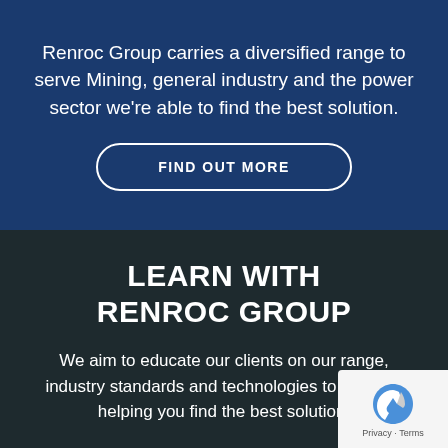Renroc Group carries a diversified range to serve Mining, general industry and the power sector we're able to find the best solution.
FIND OUT MORE
LEARN WITH RENROC GROUP
We aim to educate our clients on our range, industry standards and technologies to assist in helping you find the best solution.